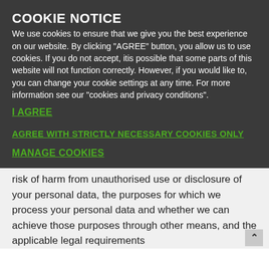COOKIE NOTICE
We use cookies to ensure that we give you the best experience on our website. By clicking "AGREE" button, you allow us to use cookies. If you do not accept, itis possible that some parts of this website will not function correctly. However, if you would like to, you can change your cookie settings at any time. For more information see our "cookies and privacy conditions".
I AGREE
AGREE WITH STRICTLY NECESSARY COOKIES ONLY
MANAGE COOKIES
risk of harm from unauthorised use or disclosure of your personal data, the purposes for which we process your personal data and whether we can achieve those purposes through other means, and the applicable legal requirements